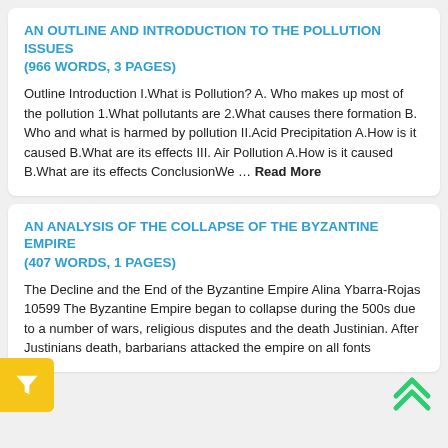AN OUTLINE AND INTRODUCTION TO THE POLLUTION ISSUES
(966 WORDS, 3 PAGES)
Outline Introduction I.What is Pollution? A. Who makes up most of the pollution 1.What pollutants are 2.What causes there formation B. Who and what is harmed by pollution II.Acid Precipitation A.How is it caused B.What are its effects III. Air Pollution A.How is it caused B.What are its effects ConclusionWe ... Read More
AN ANALYSIS OF THE COLLAPSE OF THE BYZANTINE EMPIRE
(407 WORDS, 1 PAGES)
The Decline and the End of the Byzantine Empire Alina Ybarra-Rojas 10599 The Byzantine Empire began to collapse during the 500s due to a number of wars, religious disputes and the death Justinian. After Justinians death, barbarians attacked the empire on all fonts